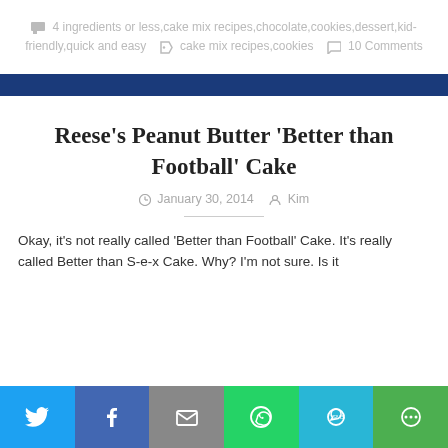4 ingredients or less,cake mix recipes,chocolate,cookies,dessert,kid-friendly,quick and easy  cake mix recipes,cookies  10 Comments
Reese's Peanut Butter 'Better than Football' Cake
January 30, 2014  Kim
Okay, it's not really called 'Better than Football' Cake. It's really called Better than S-e-x Cake. Why? I'm not sure. Is it
[Figure (infographic): Social sharing bar at bottom with Twitter, Facebook, Email, WhatsApp, SMS, and More buttons]